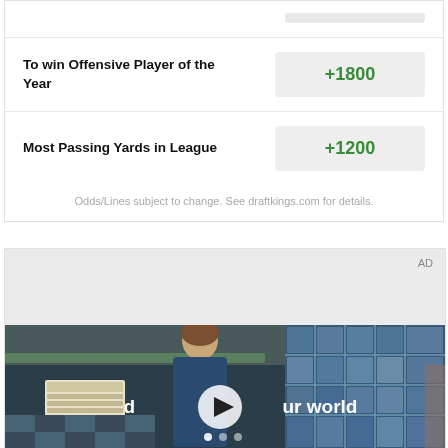To win Offensive Player of the Year
+1800
Most Passing Yards in League
+1200
Odds/Lines subject to change. See draftkings.com for details.
[Figure (photo): Video advertisement showing a young man standing in front of a building with a grid of blue-tinted windows. Text overlay reads 'Unfold your world' with a play button in the center. AD label in top right corner.]